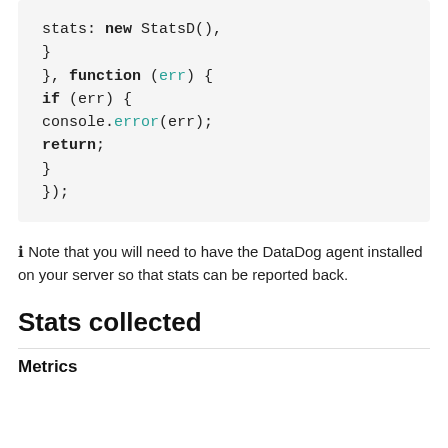stats: new StatsD(),
  }
}, function (err) {
  if (err) {
    console.error(err);
    return;
  }
});
ℹ Note that you will need to have the DataDog agent installed on your server so that stats can be reported back.
Stats collected
Metrics